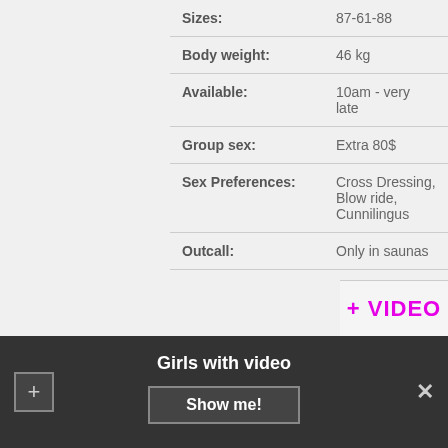| Field | Value |
| --- | --- |
| Sizes: | 87-61-88 |
| Body weight: | 46 kg |
| Available: | 10am - very late |
| Group sex: | Extra 80$ |
| Sex Preferences: | Cross Dressing, Blow ride, Cunnilingus |
| Outcall: | Only in saunas |
| One HOUR: | 90$ |
| Without condom: | 420$ |
| Nationality: | Slovak |
+ VIDEO
Girls with video
Show me!